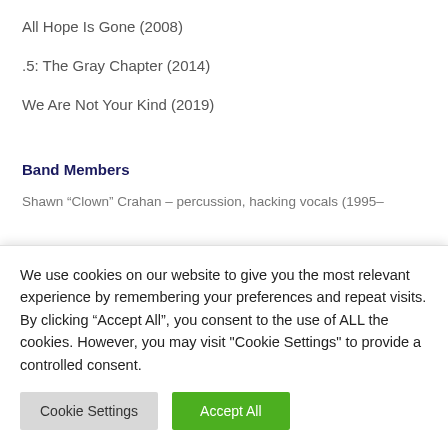All Hope Is Gone (2008)
.5: The Gray Chapter (2014)
We Are Not Your Kind (2019)
Band Members
Shawn “Clown” Crahan – percussion, hacking vocals (1995–
We use cookies on our website to give you the most relevant experience by remembering your preferences and repeat visits. By clicking “Accept All”, you consent to the use of ALL the cookies. However, you may visit “Cookie Settings” to provide a controlled consent.